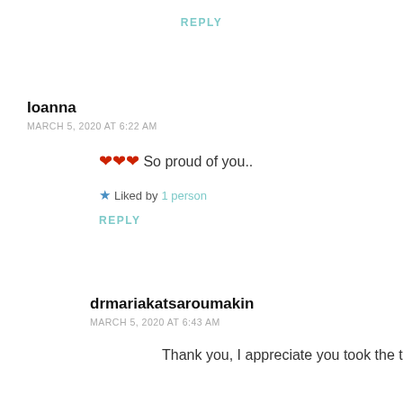REPLY
Ioanna
MARCH 5, 2020 AT 6:22 AM
❤❤❤ So proud of you..
Liked by 1 person
REPLY
drmariakatsaroumakin
MARCH 5, 2020 AT 6:43 AM
Thank you, I appreciate you took the time to read it...